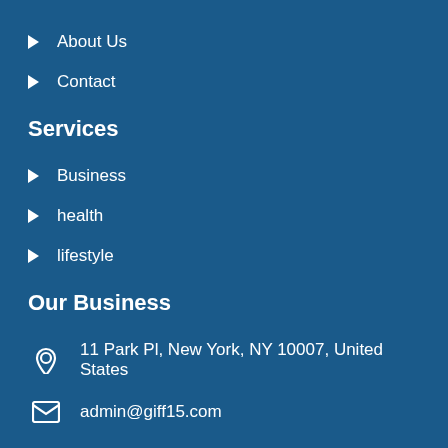About Us
Contact
Services
Business
health
lifestyle
Our Business
11 Park Pl, New York, NY 10007, United States
admin@giff15.com
+16463965525